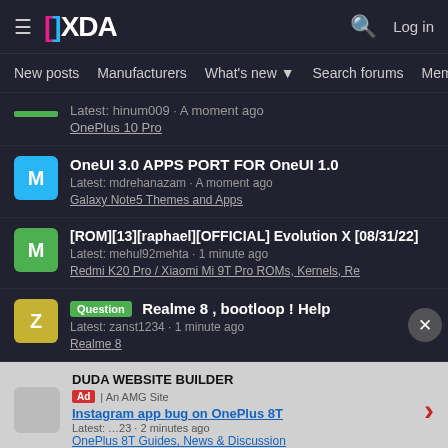XDA — New posts | Manufacturers | What's new | Search forums | Members
Latest: hinum009 · A moment ago
OnePlus 10 Pro
OneUI 3.0 APPS PORT FOR OneUI 1.0
Latest: mdrehanazam · A moment ago
Galaxy Note5 Themes and Apps
[ROM][13][raphael][OFFICIAL] Evolution X [08/31/22]
Latest: mehul92mehta · 1 minute ago
Redmi K20 Pro / Xiaomi Mi 9T Pro ROMs, Kernels, Re
Question Realme 8 , bootloop ! Help
Latest: zanst1234 · 1 minute ago
Realme 8
[Figure (screenshot): Ad for DUDA WEBSITE BUILDER with partially visible forum post about Instagram app bug on OnePlus 8T]